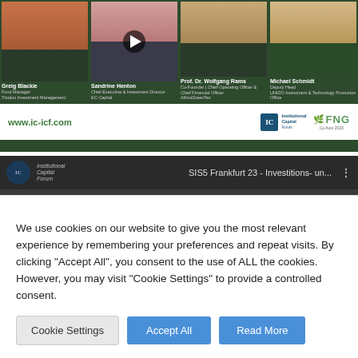[Figure (screenshot): Website screenshot showing a conference panel with four speakers (Greig Blackie, Sandrine Henton, Prof. Dr. Wolfgang Rams, Michael Schmidt) on a dark green background, with www.ic-icf.com URL, Institutional Capital Forum logo and FNG co-host 2023 logo]
[Figure (screenshot): YouTube video thumbnail showing 'SIS5 Frankfurt 23 - Investitions- un...' with Institutional Capital Forum channel icon and large 'ic Institutional' text]
We use cookies on our website to give you the most relevant experience by remembering your preferences and repeat visits. By clicking "Accept All", you consent to the use of ALL the cookies. However, you may visit "Cookie Settings" to provide a controlled consent.
Cookie Settings
Accept All
Read More